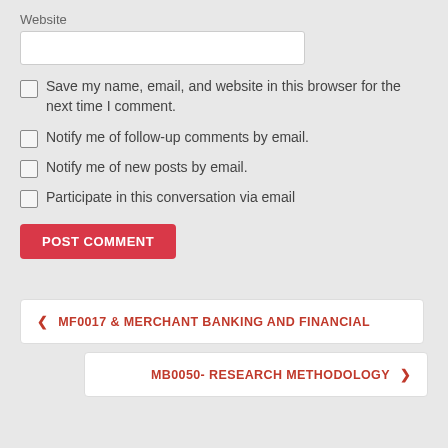Website
Save my name, email, and website in this browser for the next time I comment.
Notify me of follow-up comments by email.
Notify me of new posts by email.
Participate in this conversation via email
POST COMMENT
❮ MF0017 & MERCHANT BANKING AND FINANCIAL
MB0050- RESEARCH METHODOLOGY ❯